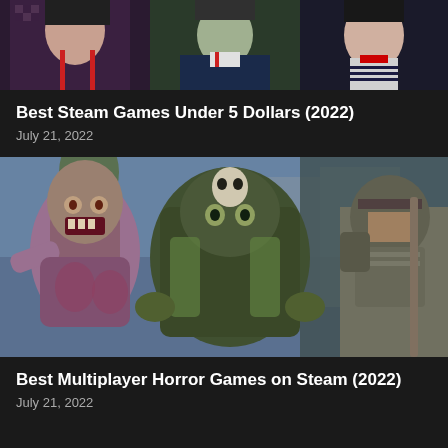[Figure (photo): Cropped top portion of anime-style game artwork showing three characters in Japanese school/traditional clothing]
Best Steam Games Under 5 Dollars (2022)
July 21, 2022
[Figure (photo): Game artwork showing zombie/monster characters including a zombie on the left, a large creature in the center, and an armored figure on the right, with snowy/urban environment]
Best Multiplayer Horror Games on Steam (2022)
July 21, 2022